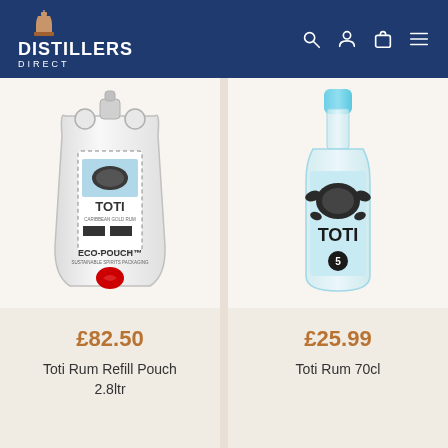DISTILLERS DIRECT
[Figure (photo): Toti Rum Refill Pouch 2.8ltr eco-pouch product image - white sustainable spirits packaging pouch]
£82.50
Toti Rum Refill Pouch 2.8ltr
[Figure (photo): Toti Rum 70cl bottle with light blue label featuring turtle graphic]
£25.99
Toti Rum 70cl